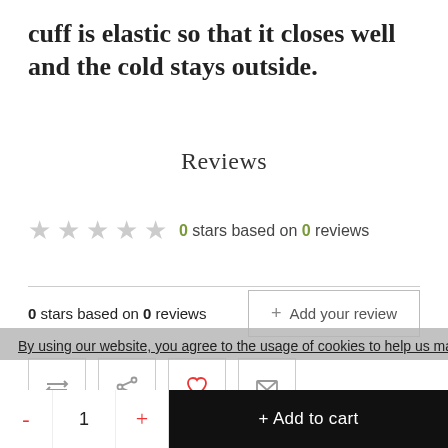cuff is elastic so that it closes well and the cold stays outside.
Reviews
0 stars based on 0 reviews
0 stars based on 0 reviews
+ Add your review
By using our website, you agree to the usage of cookies to help us make this
1
+ Add to cart